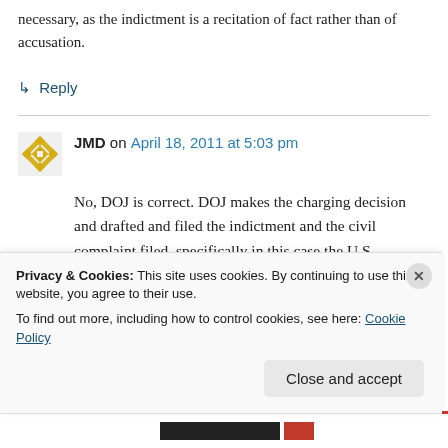necessary, as the indictment is a recitation of fact rather than of accusation.
↳ Reply
JMD on April 18, 2011 at 5:03 pm
No, DOJ is correct. DOJ makes the charging decision and drafted and filed the indictment and the civil complaint filed, specifically in this case the U.S. Attorney for the Southern District of New York.
Privacy & Cookies: This site uses cookies. By continuing to use this website, you agree to their use.
To find out more, including how to control cookies, see here: Cookie Policy
Close and accept